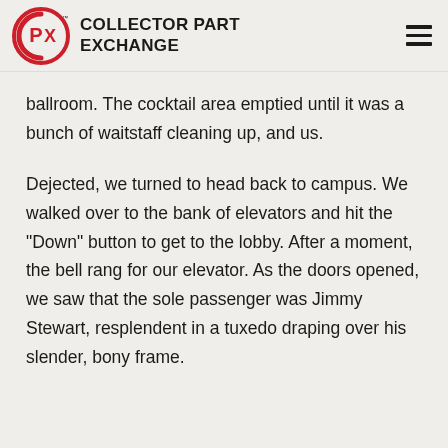COLLECTOR PART EXCHANGE
ballroom. The cocktail area emptied until it was a bunch of waitstaff cleaning up, and us.
Dejected, we turned to head back to campus. We walked over to the bank of elevators and hit the "Down" button to get to the lobby. After a moment, the bell rang for our elevator. As the doors opened, we saw that the sole passenger was Jimmy Stewart, resplendent in a tuxedo draping over his slender, bony frame.